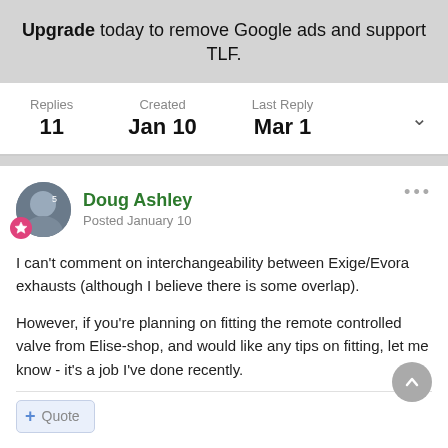Upgrade today to remove Google ads and support TLF.
Replies 11   Created Jan 10   Last Reply Mar 1
Doug Ashley
Posted January 10
I can't comment on interchangeability between Exige/Evora exhausts (although I believe there is some overlap).

However, if you're planning on fitting the remote controlled valve from Elise-shop, and would like any tips on fitting, let me know - it's a job I've done recently.
Quote